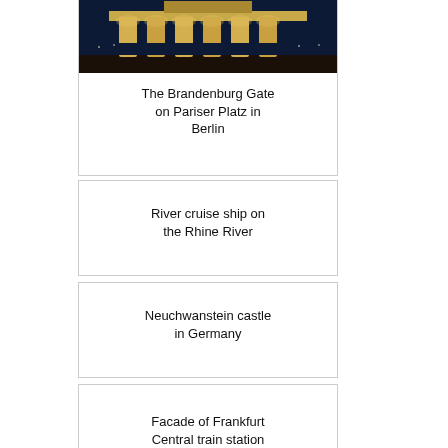[Figure (photo): Brandenburg Gate at night with illuminated columns on Pariser Platz in Berlin]
The Brandenburg Gate on Pariser Platz in Berlin
River cruise ship on the Rhine River
Neuchwanstein castle in Germany
Facade of Frankfurt Central train station